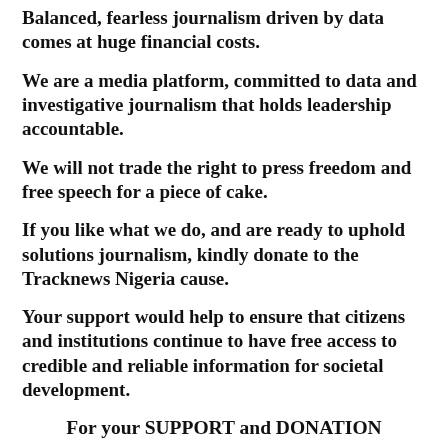Balanced, fearless journalism driven by data comes at huge financial costs.
We are a media platform, committed to data and investigative journalism that holds leadership accountable.
We will not trade the right to press freedom and free speech for a piece of cake.
If you like what we do, and are ready to uphold solutions journalism, kindly donate to the Tracknews Nigeria cause.
Your support would help to ensure that citizens and institutions continue to have free access to credible and reliable information for societal development.
For your SUPPORT and DONATION send us mail @
tracknewsng@gmail.com or call